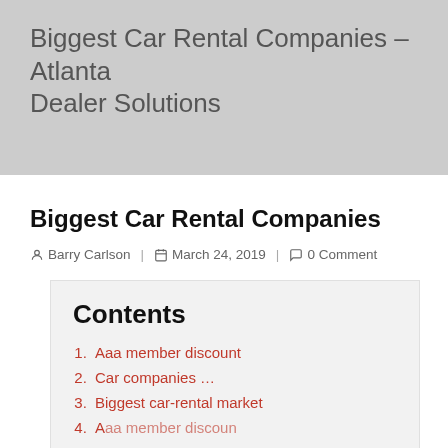Biggest Car Rental Companies - Atlanta Dealer Solutions
Biggest Car Rental Companies
Barry Carlson | March 24, 2019 | 0 Comment
Contents
1. Aaa member discount
2. Car companies ...
3. Biggest car-rental market
4. (partially visible)